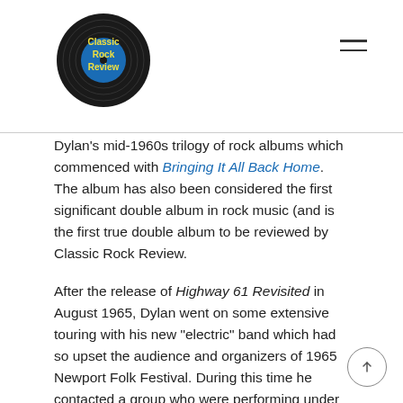Classic Rock Review
Dylan's mid-1960s trilogy of rock albums which commenced with Bringing It All Back Home. The album has also been considered the first significant double album in rock music (and is the first true double album to be reviewed by Classic Rock Review.
After the release of Highway 61 Revisited in August 1965, Dylan went on some extensive touring with his new "electric" band which had so upset the audience and organizers of 1965 Newport Folk Festival. During this time he contacted a group who were performing under the name Levon and